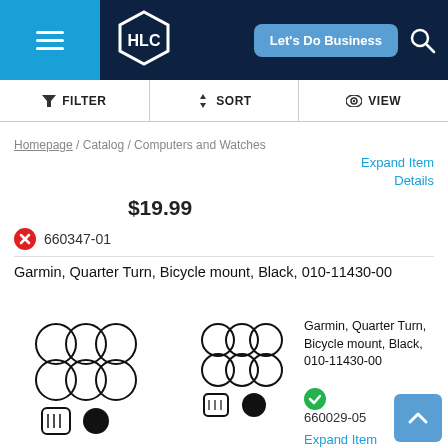HLC — Let's Do Business
FILTER   SORT   VIEW
Homepage / Catalog / Computers and Watches
Expand Item Details
$19.99
660347-01
Garmin, Quarter Turn, Bicycle mount, Black, 010-11430-00
[Figure (illustration): Product image: Garmin quarter turn bicycle mount components - rings and parts]
[Figure (illustration): Product image: Garmin quarter turn bicycle mount components - rings and parts]
Garmin, Quarter Turn, Bicycle mount, Black, 010-11430-00
660029-05
Expand Item